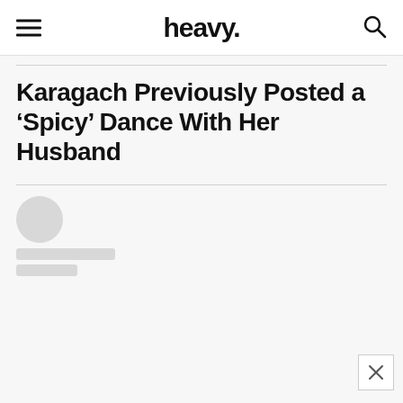heavy.
Karagach Previously Posted a ‘Spicy’ Dance With Her Husband
[Figure (illustration): Loading placeholder with circular avatar silhouette and two gray skeleton lines representing author name and date, indicating content is loading.]